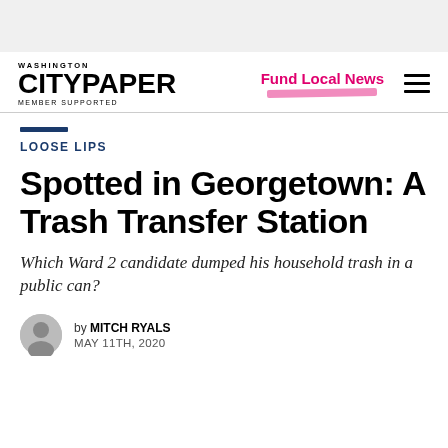Washington City Paper — MEMBER SUPPORTED | Fund Local News
LOOSE LIPS
Spotted in Georgetown: A Trash Transfer Station
Which Ward 2 candidate dumped his household trash in a public can?
by MITCH RYALS
MAY 11TH, 2020